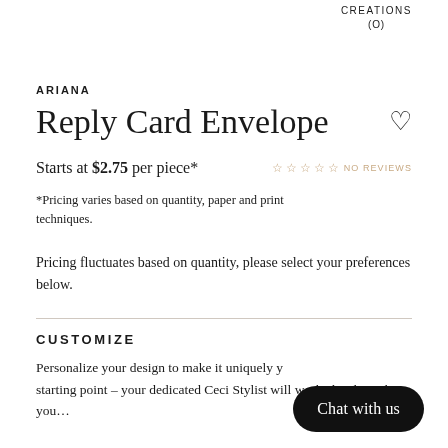CREATIONS (O)
ARIANA
Reply Card Envelope
Starts at $2.75 per piece*
☆☆☆☆☆ NO REVIEWS
*Pricing varies based on quantity, paper and print techniques.
Pricing fluctuates based on quantity, please select your preferences below.
CUSTOMIZE
Personalize your design to make it uniquely y… starting point – your dedicated Ceci Stylist will work closely with you…